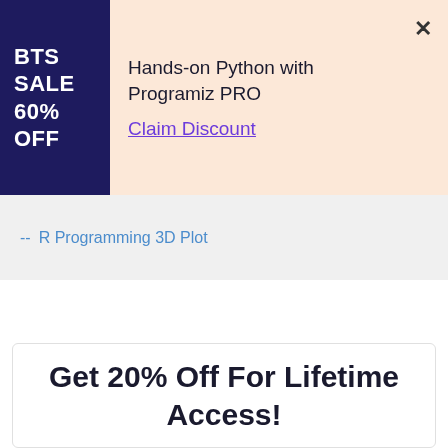BTS SALE 60% OFF
Hands-on Python with Programiz PRO
Claim Discount
-- R Programming 3D Plot
Get 20% Off For Lifetime Access!